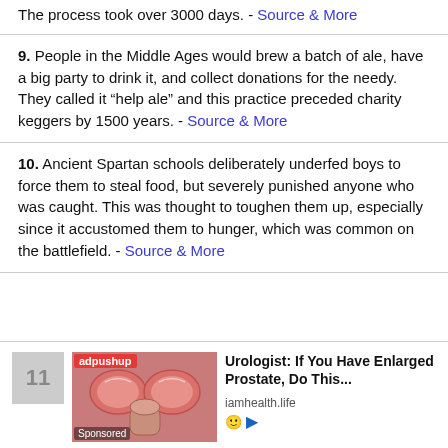The process took over 3000 days. - Source & More
9. People in the Middle Ages would brew a batch of ale, have a big party to drink it, and collect donations for the needy. They called it “help ale” and this practice preceded charity keggers by 1500 years. - Source & More
10. Ancient Spartan schools deliberately underfed boys to force them to steal food, but severely punished anyone who was caught. This was thought to toughen them up, especially since it accustomed them to hunger, which was common on the battlefield. - Source & More
[Figure (other): Advertisement: adpushup sponsored ad with medical illustration of prostate. Number 11 placeholder box on left. Ad text: Urologist: If You Have Enlarged Prostate, Do This... iamhealth.life]